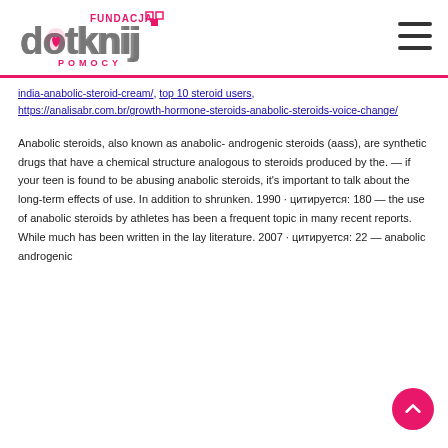Fundacja Dotknij Pomocy — logo and navigation
india-anabolic-steroid-cream/, top 10 steroid users, https://analisabr.com.br/growth-hormone-steroids-anabolic-steroids-voice-change/
Anabolic steroids, also known as anabolic- androgenic steroids (aass), are synthetic drugs that have a chemical structure analogous to steroids produced by the. — if your teen is found to be abusing anabolic steroids, it's important to talk about the long-term effects of use. In addition to shrunken. 1990 · цитируется: 180 — the use of anabolic steroids by athletes has been a frequent topic in many recent reports. While much has been written in the lay literature. 2007 · цитируется: 22 — anabolic androgenic